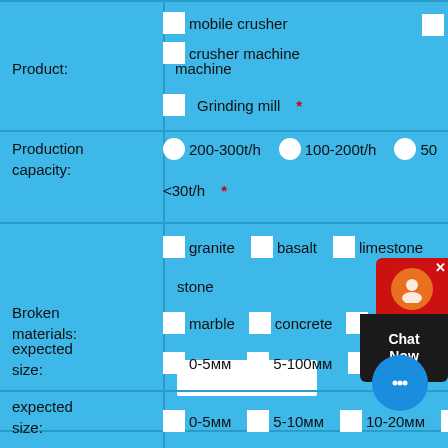mobile crusher  crusher machine  [checkbox row, top - cropped]
Product: machine
Grinding mill *
Production capacity: 200-300t/h  100-200t/h  50-...  <30t/h *
Broken materials: granite  basalt  limestone  stone  marble  concrete  Construction wa... [text input]
expected size: 0-5мм  5-100мм  100-300мм  [more cropped]
expected size: 0-5мм  5-10мм  10-20мм  20... [more cropped]